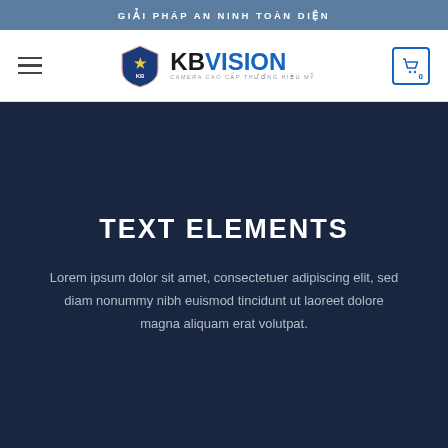GIẢI PHÁP AN NINH TOÀN DIỆN
[Figure (logo): KBVISION logo with eagle shield emblem and tagline CAMERA CAO CẤP THƯƠNG HIỆU MỸ]
TEXT ELEMENTS
Lorem ipsum dolor sit amet, consectetuer adipiscing elit, sed diam nonummy nibh euismod tincidunt ut laoreet dolore magna aliquam erat volutpat.